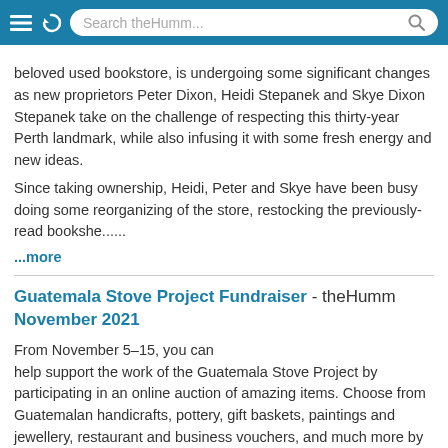Search theHumm...
beloved used bookstore, is undergoing some significant changes as new proprietors Peter Dixon, Heidi Stepanek and Skye Dixon Stepanek take on the challenge of respecting this thirty-year Perth landmark, while also infusing it with some fresh energy and new ideas.
Since taking ownership, Heidi, Peter and Skye have been busy doing some reorganizing of the store, restocking the previously-read bookshe......
...more
Guatemala Stove Project Fundraiser - theHumm November 2021
From November 5–15, you can help support the work of the Guatemala Stove Project by participating in an online auction of amazing items. Choose from Guatemalan handicrafts, pottery, gift baskets, paintings and jewellery, restaurant and business vouchers, and much more by visiting 32auctions.com/2021GSP . Proceeds will support the building of chimney-vented cooking stoves for Maya families. These stoves not only reduce the ......
...more